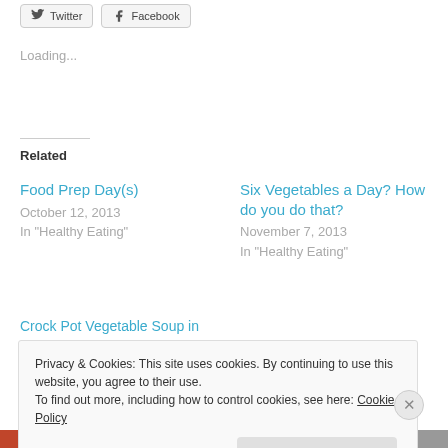[Figure (other): Twitter and Facebook share buttons]
Loading...
Related
Food Prep Day(s)
October 12, 2013
In "Healthy Eating"
Six Vegetables a Day? How do you do that?
November 7, 2013
In "Healthy Eating"
Crock Pot Vegetable Soup in
Privacy & Cookies: This site uses cookies. By continuing to use this website, you agree to their use.
To find out more, including how to control cookies, see here: Cookie Policy
Close and accept